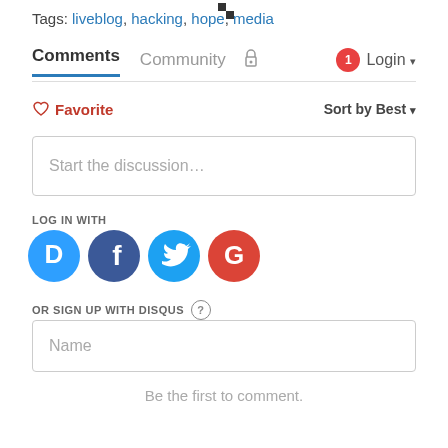Tags: liveblog, hacking, hope, media
Comments  Community  🔒  🔔 1  Login ▾
♡ Favorite    Sort by Best ▾
Start the discussion…
LOG IN WITH
[Figure (illustration): Social login icons: Disqus (blue circle with D), Facebook (blue circle with f), Twitter (light blue circle with bird), Google (red circle with G)]
OR SIGN UP WITH DISQUS ?
Name
Be the first to comment.